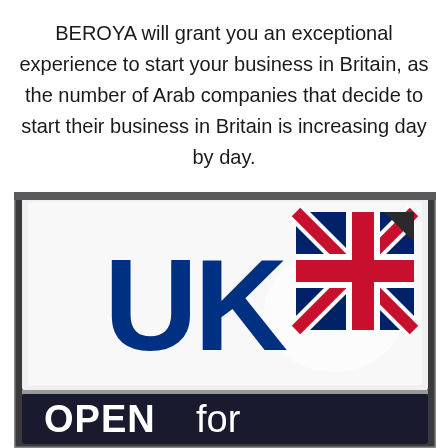BEROYA will grant you an exceptional experience to start your business in Britain, as the number of Arab companies that decide to start their business in Britain is increasing day by day.
[Figure (photo): Photo of a UK sign/logo showing the letters 'UK' in dark navy blue with a Union Jack flag icon to the right, on a white illuminated sign panel. Below is a darker banner beginning with 'OPEN for' in large white letters.]